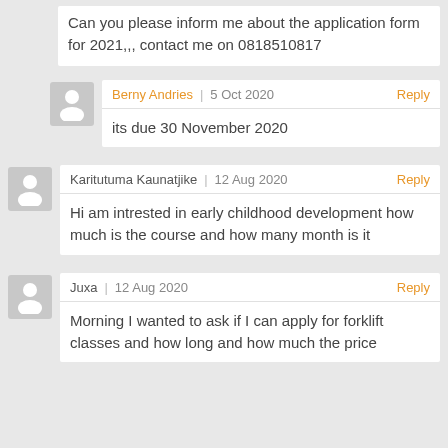Can you please inform me about the application form for 2021,,, contact me on 0818510817
Berny Andries | 5 Oct 2020 | Reply
its due 30 November 2020
Karitutuma Kaunatjike | 12 Aug 2020 | Reply
Hi am intrested in early childhood development how much is the course and how many month is it
Juxa | 12 Aug 2020 | Reply
Morning I wanted to ask if I can apply for forklift classes and how long and how much the price